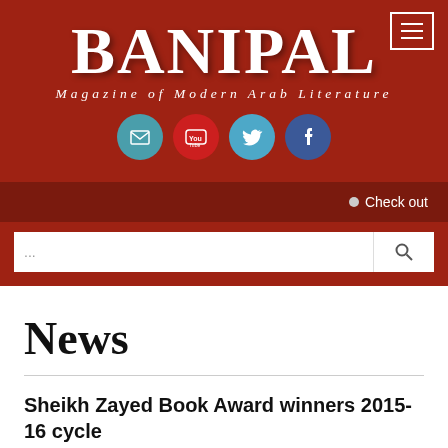BANIPAL — Magazine of Modern Arab Literature
[Figure (logo): BANIPAL Magazine of Modern Arab Literature logo with social media icons (email, YouTube, Twitter, Facebook) on dark red background]
• Check out
News
Sheikh Zayed Book Award winners 2015-16 cycle